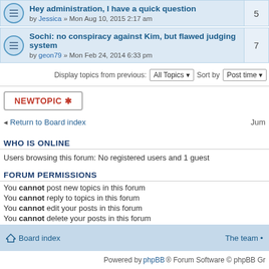Hey administration, I have a quick question — by Jessica » Mon Aug 10, 2015 2:17 am — replies: 5
Sochi: no conspiracy against Kim, but flawed judging system — by geon79 » Mon Feb 24, 2014 6:33 pm — replies: 7
Display topics from previous: All Topics  Sort by Post time
NEWTOPIC *
◂ Return to Board index    Jum
WHO IS ONLINE
Users browsing this forum: No registered users and 1 guest
FORUM PERMISSIONS
You cannot post new topics in this forum
You cannot reply to topics in this forum
You cannot edit your posts in this forum
You cannot delete your posts in this forum
You cannot post attachments in this forum
Board index   The team •
Powered by phpBB® Forum Software © phpBB Gr